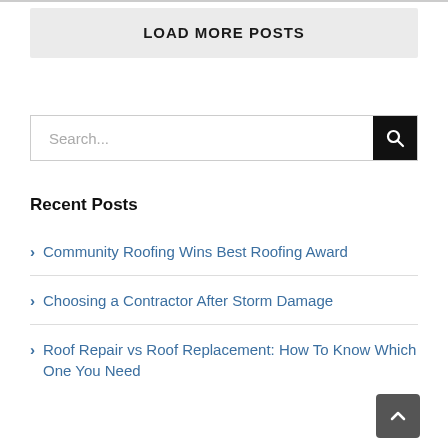LOAD MORE POSTS
Search...
Recent Posts
Community Roofing Wins Best Roofing Award
Choosing a Contractor After Storm Damage
Roof Repair vs Roof Replacement: How To Know Which One You Need